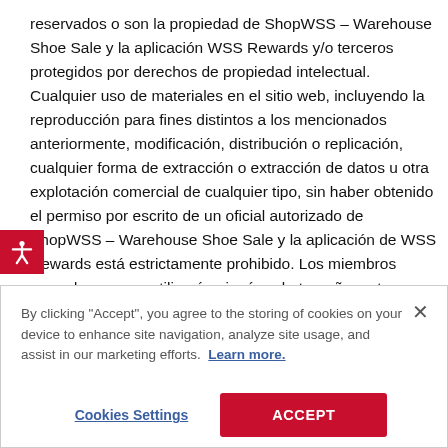reservados o son la propiedad de ShopWSS – Warehouse Shoe Sale y la aplicación WSS Rewards y/o terceros protegidos por derechos de propiedad intelectual. Cualquier uso de materiales en el sitio web, incluyendo la reproducción para fines distintos a los mencionados anteriormente, modificación, distribución o replicación, cualquier forma de extracción o extracción de datos u otra explotación comercial de cualquier tipo, sin haber obtenido el permiso por escrito de un oficial autorizado de ShopWSS – Warehouse Shoe Sale y la aplicación de WSS Rewards está estrictamente prohibido. Los miembros acuerdan que no utilizarán ningún robot, araña u otro dispositivo automático, o
By clicking "Accept", you agree to the storing of cookies on your device to enhance site navigation, analyze site usage, and assist in our marketing efforts. Learn more.
Cookies Settings
ACCEPT